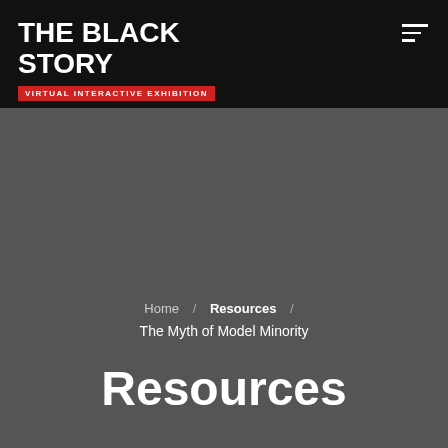THE BLACK STORY VIRTUAL INTERACTIVE EXHIBITION
Home / Resources / The Myth of Model Minority
Resources